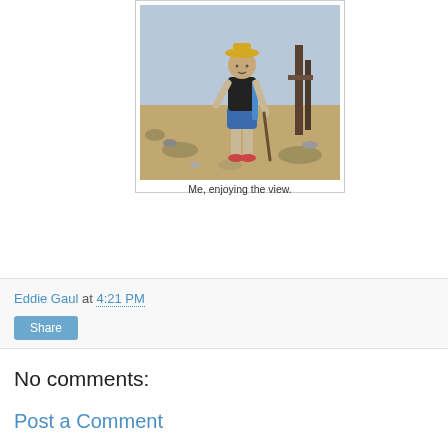[Figure (photo): A person standing on a rocky trail, holding a walking stick, wearing a hat, blue shorts and red shoes, with rocky terrain and wooden structures in the background.]
Me, enjoying the view.
Eddie Gaul at 4:21 PM
Share
No comments:
Post a Comment